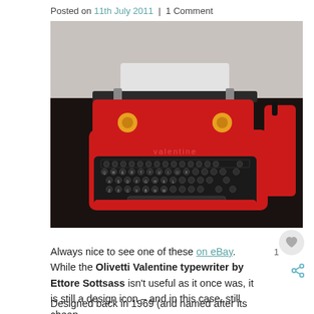Posted on 11th July 2011  |  1 Comment
[Figure (photo): A red Olivetti Valentine typewriter sitting on a dark table, with a sheet of white paper loaded and the keyboard visible. A red case is visible to the right.]
Always nice to see one of these on eBay. While the Olivetti Valentine typewriter by Ettore Sottsass isn't useful as it once was, it is still a design icon – and in this case, still cheap.
Designed back in 1969 (and named after its day of